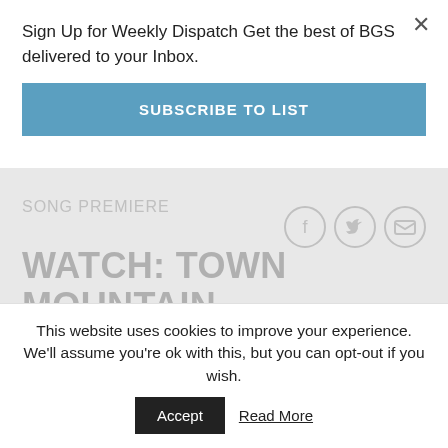Sign Up for Weekly Dispatch Get the best of BGS delivered to your Inbox.
SUBSCRIBE TO LIST
SONG PREMIERE
WATCH: TOWN MOUNTAIN, "FIREBOUND ROAD"
This website uses cookies to improve your experience. We'll assume you're ok with this, but you can opt-out if you wish.
Accept
Read More